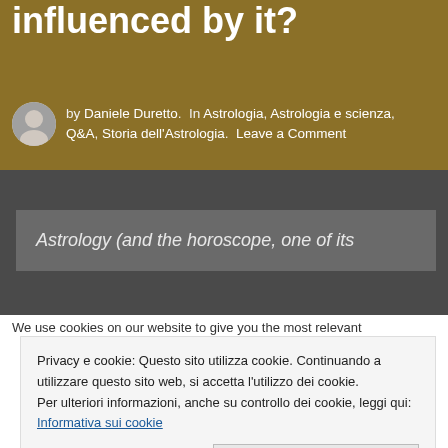... influenced by it?
by Daniele Duretto. In Astrologia, Astrologia e scienza, Q&A, Storia dell'Astrologia. Leave a Comment
Astrology (and the horoscope, one of its
We use cookies on our website to give you the most relevant
Privacy e cookie: Questo sito utilizza cookie. Continuando a utilizzare questo sito web, si accetta l'utilizzo dei cookie.
Per ulteriori informazioni, anche su controllo dei cookie, leggi qui:
Informativa sui cookie
Accetta e chiudi